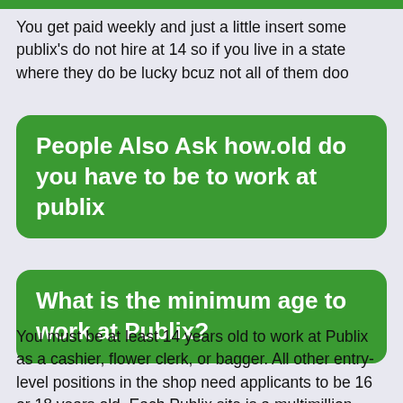You get paid weekly and just a little insert some publix's do not hire at 14 so if you live in a state where they do be lucky bcuz not all of them doo
People Also Ask how.old do you have to be to work at publix
What is the minimum age to work at Publix?
You must be at least 14 years old to work at Publix as a cashier, flower clerk, or bagger. All other entry-level positions in the shop need applicants to be 16 or 18 years old. Each Publix site is a multimillion-dollar operation, providing fulfilling retail employment and an opportunity